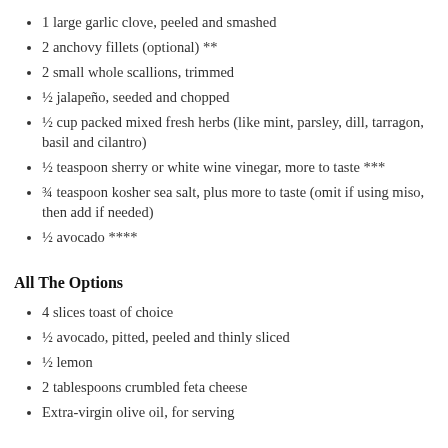1 large garlic clove, peeled and smashed
2 anchovy fillets (optional) **
2 small whole scallions, trimmed
½ jalapeño, seeded and chopped
½ cup packed mixed fresh herbs (like mint, parsley, dill, tarragon, basil and cilantro)
½ teaspoon sherry or white wine vinegar, more to taste ***
¾ teaspoon kosher sea salt, plus more to taste (omit if using miso, then add if needed)
½ avocado ****
All The Options
4 slices toast of choice
½ avocado, pitted, peeled and thinly sliced
½ lemon
2 tablespoons crumbled feta cheese
Extra-virgin olive oil, for serving